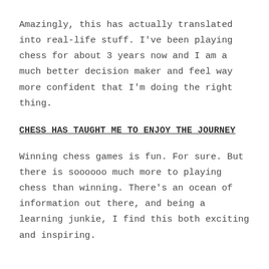Amazingly, this has actually translated into real-life stuff. I've been playing chess for about 3 years now and I am a much better decision maker and feel way more confident that I'm doing the right thing.
CHESS HAS TAUGHT ME TO ENJOY THE JOURNEY
Winning chess games is fun. For sure. But there is soooooo much more to playing chess than winning. There's an ocean of information out there, and being a learning junkie, I find this both exciting and inspiring.